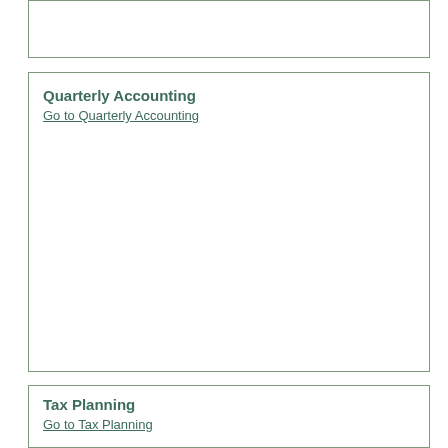Quarterly Accounting
Go to Quarterly Accounting
Tax Planning
Go to Tax Planning